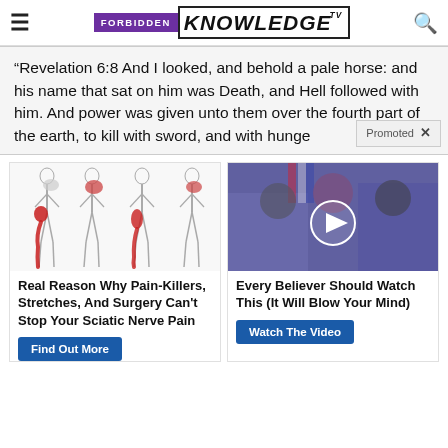FORBIDDEN KNOWLEDGE TV
“Revelation 6:8 And I looked, and behold a pale horse: and his name that sat on him was Death, and Hell followed with him. And power was given unto them over the fourth part of the earth, to kill with sword, and with hunge
[Figure (illustration): Four silhouette diagrams of the human body showing sciatic nerve pain areas highlighted in red along the leg and hip region]
Real Reason Why Pain-Killers, Stretches, And Surgery Can't Stop Your Sciatic Nerve Pain
[Figure (screenshot): Video thumbnail showing politicians laughing with a play button overlay]
Every Believer Should Watch This (It Will Blow Your Mind)
Watch The Video
Find Out More